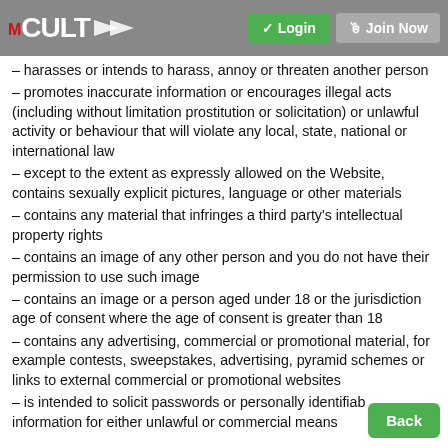CULT Login Join Now
– harasses or intends to harass, annoy or threaten another person
– promotes inaccurate information or encourages illegal acts (including without limitation prostitution or solicitation) or unlawful activity or behaviour that will violate any local, state, national or international law
– except to the extent as expressly allowed on the Website, contains sexually explicit pictures, language or other materials
– contains any material that infringes a third party's intellectual property rights
– contains an image of any other person and you do not have their permission to use such image
– contains an image or a person aged under 18 or the jurisdiction age of consent where the age of consent is greater than 18
– contains any advertising, commercial or promotional material, for example contests, sweepstakes, advertising, pyramid schemes or links to external commercial or promotional websites
– is intended to solicit passwords or personally identifiable information for either unlawful or commercial means